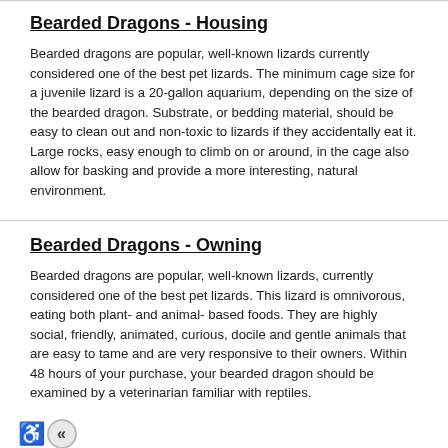Bearded Dragons - Housing
Bearded dragons are popular, well-known lizards currently considered one of the best pet lizards. The minimum cage size for a juvenile lizard is a 20-gallon aquarium, depending on the size of the bearded dragon. Substrate, or bedding material, should be easy to clean out and non-toxic to lizards if they accidentally eat it. Large rocks, easy enough to climb on or around, in the cage also allow for basking and provide a more interesting, natural environment.
Bearded Dragons - Owning
Bearded dragons are popular, well-known lizards, currently considered one of the best pet lizards. This lizard is omnivorous, eating both plant- and animal- based foods. They are highly social, friendly, animated, curious, docile and gentle animals that are easy to tame and are very responsive to their owners. Within 48 hours of your purchase, your bearded dragon should be examined by a veterinarian familiar with reptiles.
Bearded Dragons - Problems